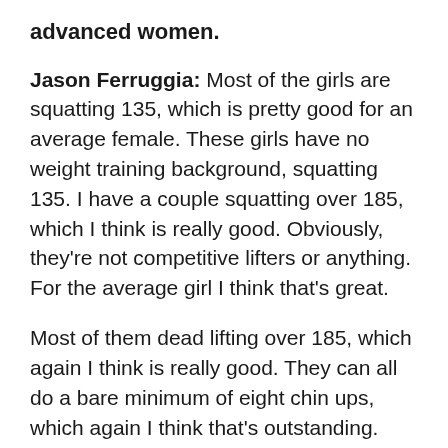advanced women.
Jason Ferruggia: Most of the girls are squatting 135, which is pretty good for an average female. These girls have no weight training background, squatting 135. I have a couple squatting over 185, which I think is really good. Obviously, they're not competitive lifters or anything. For the average girl I think that's great.
Most of them dead lifting over 185, which again I think is really good. They can all do a bare minimum of eight chin ups, which again I think that's outstanding.